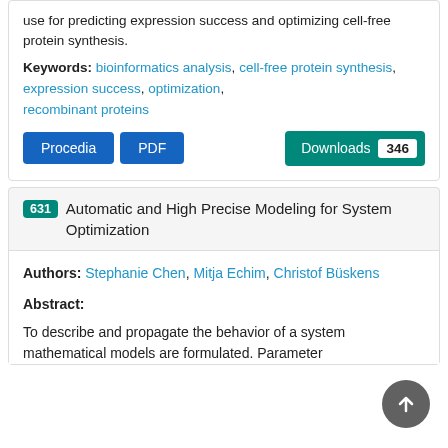use for predicting expression success and optimizing cell-free protein synthesis.
Keywords: bioinformatics analysis, cell-free protein synthesis, expression success, optimization, recombinant proteins
Procedia  PDF  Downloads 346
631 Automatic and High Precise Modeling for System Optimization
Authors: Stephanie Chen, Mitja Echim, Christof Büskens
Abstract:
To describe and propagate the behavior of a system mathematical models are formulated. Parameter identification and to select the coefficients of the